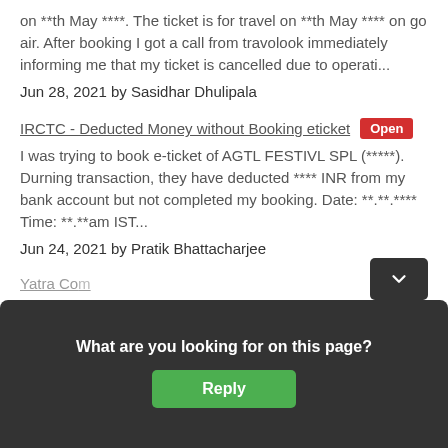on **th May ****. The ticket is for travel on **th May **** on go air. After booking I got a call from travolook immediately informing me that my ticket is cancelled due to operati...
Jun 28, 2021 by Sasidhar Dhulipala
IRCTC - Deducted Money without Booking eticket [Open]
I was trying to book e-ticket of AGTL FESTIVL SPL (*****). Durning transaction, they have deducted **** INR from my bank account but not completed my booking. Date: **.**.**** Time: **.**am IST...
Jun 24, 2021 by Pratik Bhattacharjee
Yatra Co... not included
*.) During... *Kgs.
What are you looking for on this page?
Reply